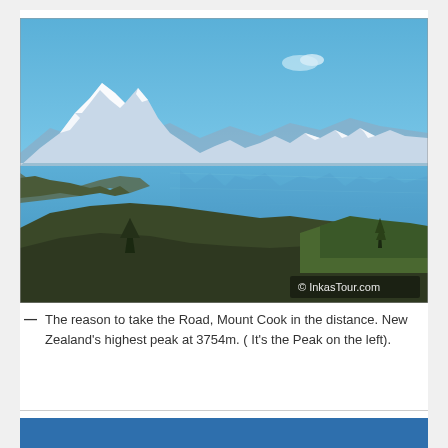[Figure (photo): Landscape photograph showing Mount Cook (Aoraki) in the distance across a blue glacial lake, with snow-capped mountain peaks, rolling hills with low scrub vegetation in the foreground, and a clear blue sky. Watermark reads '© InkasTour.com' in the bottom right corner.]
— The reason to take the Road, Mount Cook in the distance. New Zealand's highest peak at 3754m. ( It's the Peak on the left).